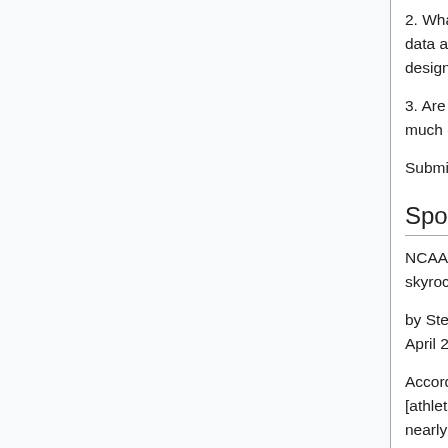2. What would be a good way to decide when to collect data and when to trust the instincts of the web designers?
3. Are there other areas besides web design where too much data collection can be a problem?
Submitted by Steve Simon
Sports Spending
NCAA report: College sports spending keeps skyrocketing
by Steve Wieberg and Steve Berkowitz, USA TODAY, April 29, 2009 [6]
According to a 2009 NCAA report, "Major college [athletics] programs increased their operating budgets by nearly 11% annually" over a 3-year span. The authors contrast this figure with a